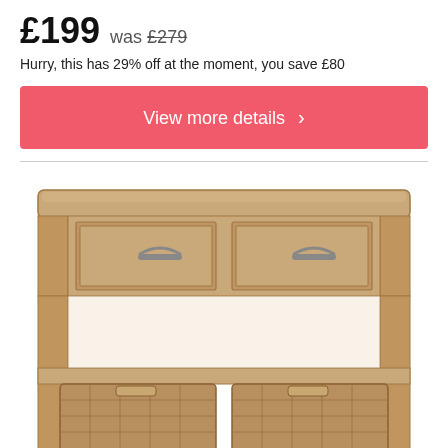£199 was £279
Hurry, this has 29% off at the moment, you save £80
View more details >
[Figure (photo): Wooden console table with two drawers featuring metal cup handles and an open lower shelf holding two woven wicker storage baskets]